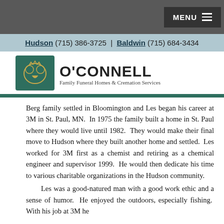MENU
Hudson (715) 386-3725 | Baldwin (715) 684-3434
[Figure (logo): O'Connell Family Funeral Homes & Cremation Services logo with claddagh emblem]
Berg family settled in Bloomington and Les began his career at 3M in St. Paul, MN.  In 1975 the family built a home in St. Paul where they would live until 1982.  They would make their final move to Hudson where they built another home and settled.  Les worked for 3M first as a chemist and retiring as a chemical engineer and supervisor 1999.  He would then dedicate his time to various charitable organizations in the Hudson community.
Les was a good-natured man with a good work ethic and a sense of humor.  He enjoyed the outdoors, especially fishing.  With his job at 3M he